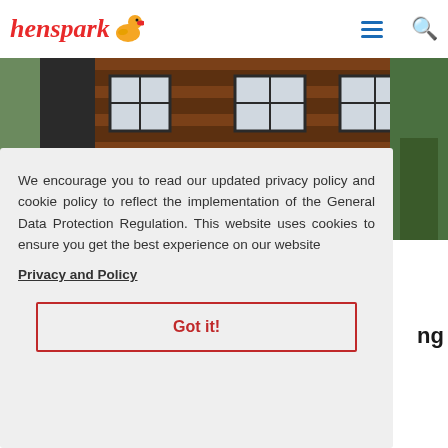henspark
[Figure (photo): Exterior of a building with dark timber/wood cladding and multiple square windows, green trees visible in background]
We encourage you to read our updated privacy policy and cookie policy to reflect the implementation of the General Data Protection Regulation. This website uses cookies to ensure you get the best experience on our website
Privacy and Policy
Got it!